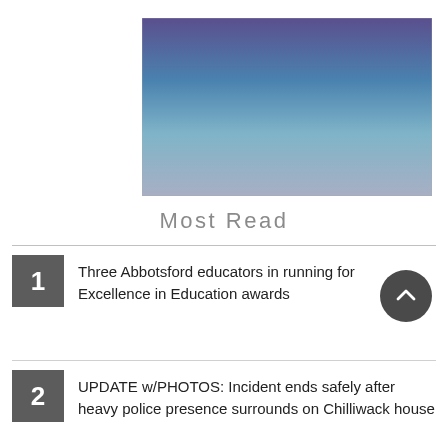[Figure (illustration): A rectangular image with a gradient background transitioning from dark purple at the top to light blue/teal in the middle and then to a muted lavender/gray at the bottom, positioned in the upper right area of the page.]
Most Read
Three Abbotsford educators in running for Excellence in Education awards
UPDATE w/PHOTOS: Incident ends safely after heavy police presence surrounds on Chilliwack house